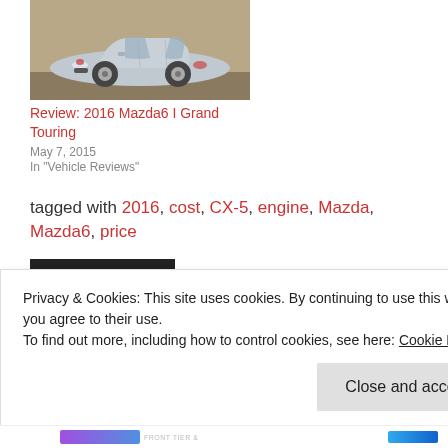[Figure (photo): Silver Mazda6 sedan photographed outdoors with a warm background]
Review: 2016 Mazda6 I Grand Touring
May 7, 2015
In "Vehicle Reviews"
tagged with 2016, cost, CX-5, engine, Mazda, Mazda6, price
Industry News
Privacy & Cookies: This site uses cookies. By continuing to use this website, you agree to their use.
To find out more, including how to control cookies, see here: Cookie Policy
Close and accept